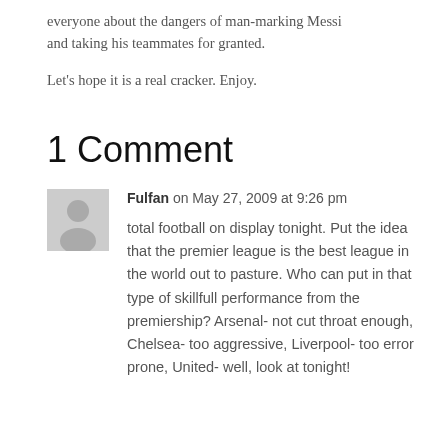everyone about the dangers of man-marking Messi and taking his teammates for granted.
Let's hope it is a real cracker. Enjoy.
1 Comment
Fulfan on May 27, 2009 at 9:26 pm
total football on display tonight. Put the idea that the premier league is the best league in the world out to pasture. Who can put in that type of skillfull performance from the premiership? Arsenal- not cut throat enough, Chelsea- too aggressive, Liverpool- too error prone, United- well, look at tonight!